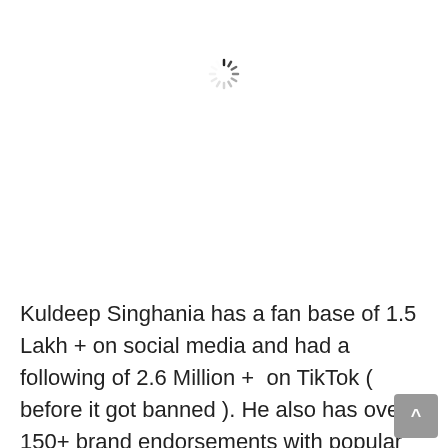[Figure (other): A loading spinner icon (circular dashes radiating from center) displayed in the upper-center of the page]
Kuldeep Singhania has a fan base of 1.5 Lakh + on social media and had a following of 2.6 Million +  on TikTok ( before it got banned ). He also has over 150+ brand endorsements with popular brands like Jaguar, Puma, being